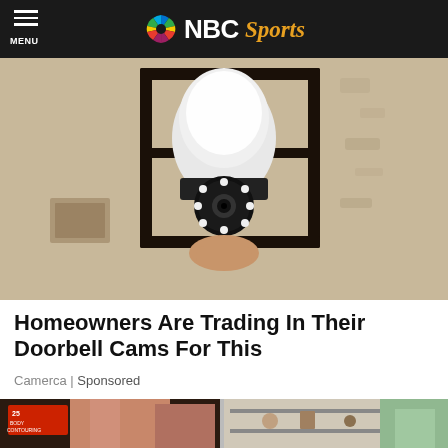MENU | NBC Sports
[Figure (photo): A security camera disguised as a light bulb installed in an outdoor wall lantern fixture mounted on a textured stucco wall. A hand is visible holding/installing the device.]
Homeowners Are Trading In Their Doorbell Cams For This
Camerca | Sponsored
[Figure (photo): Partial view of two images side by side: a body contouring advertisement showing midriff sections, and a kitchen/home interior scene.]